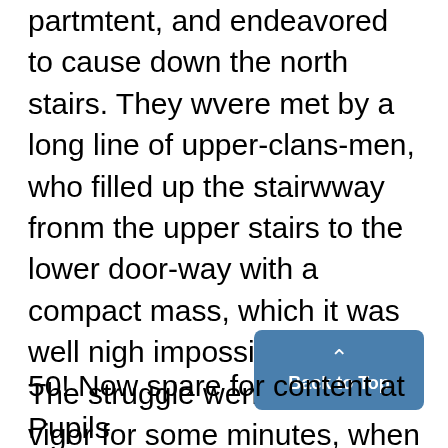partmtent, and endeavored to cause down the north stairs. They wvere met by a long line of upper-clans-men, who filled up the stairwway fronm the upper stairs to the lower door-way with a compact mass, which it was well nigh impossible to move. The struggle went on with vigor for some minutes, when Dr. Campbell appeared upon the scene, and order.ed the freshmen to go down the south stairway.!
50! Now spare for content at Pupils